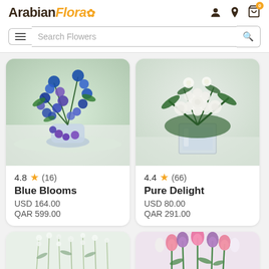Arabian Flora
Search Flowers
[Figure (photo): Blue orchid and purple flower arrangement cascading from a round vase with blue and purple blooms]
4.8 ★ (16)
Blue Blooms
USD 164.00
QAR 599.00
[Figure (photo): White roses and flowers arranged in a square glass vase]
4.4 ★ (66)
Pure Delight
USD 80.00
QAR 291.00
[Figure (photo): White delicate flower stems with small blooms, partially visible]
[Figure (photo): Pink and purple tulips arranged in a bouquet, partially visible]